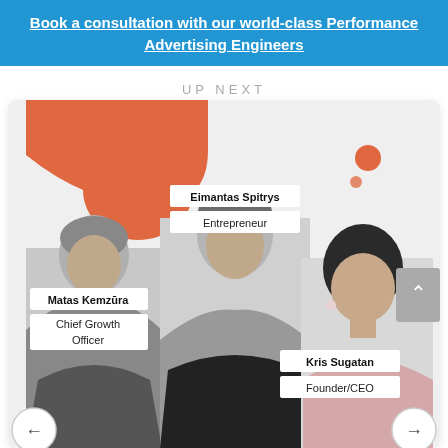Book a consultation with our world-class Performance Advertising Engineers
UP NEXT
[Figure (photo): Card showing three professionals: Matas Kemzūra (Chief Growth Officer), Eimantas Spitrys (Entrepreneur), and Kris Sugatan (Founder/CEO). Decorative orange blob shape and dots in background. Navigation arrows at bottom corners and scroll-up button on right side.]